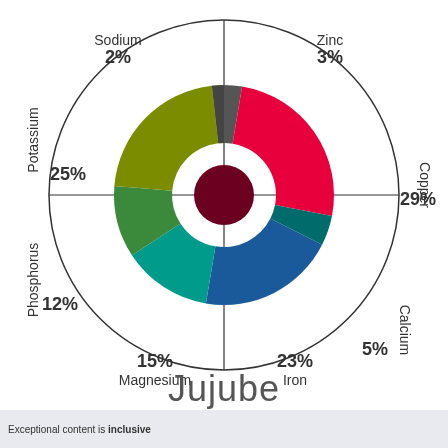[Figure (pie-chart): Jujube]
Jujube